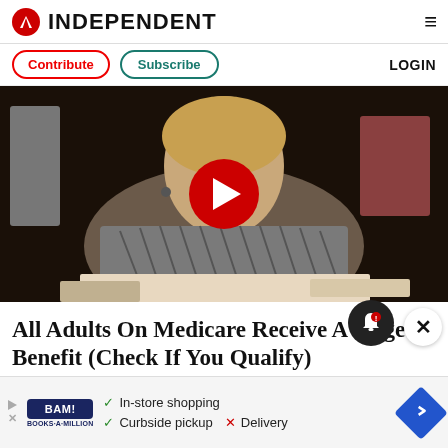INDEPENDENT
Contribute   Subscribe   LOGIN
[Figure (photo): Video thumbnail showing a woman in a patterned grey top, with a large red play button overlay in the center. The background is dark.]
All Adults On Medicare Receive A Huge Benefit (Check If You Qualify)
[Figure (infographic): Advertisement banner for BAM! Books-A-Million showing: In-store shopping (checkmark), Curbside pickup (checkmark), Delivery (X). Blue diamond navigation icon on right.]